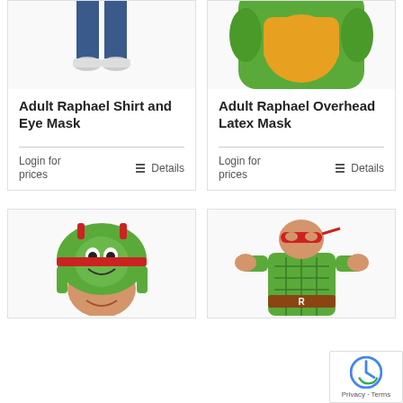[Figure (photo): Person wearing jeans and sneakers (lower body only), Raphael costume shirt, white background]
Adult Raphael Shirt and Eye Mask
Login for prices
Details
[Figure (photo): Green Teenage Mutant Ninja Turtle Raphael inflatable muscle torso costume, close-up]
Adult Raphael Overhead Latex Mask
Login for prices
Details
[Figure (photo): Man wearing green Raphael TMNT character hat with face and red bandana, smiling]
[Figure (photo): Man in full Raphael TMNT costume jumpsuit with red mask and shell detail]